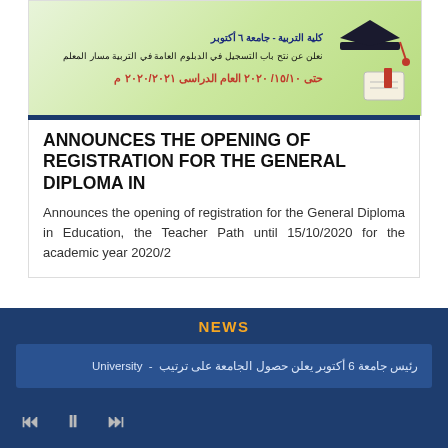[Figure (illustration): Banner with Arabic text about General Diploma registration opening until 15/10/2020 for academic year 2020/2021, with a graduation cap and diploma image on green background]
ANNOUNCES THE OPENING OF REGISTRATION FOR THE GENERAL DIPLOMA IN
Announces the opening of registration for the General Diploma in Education, the Teacher Path until 15/10/2020 for the academic year 2020/2
[Figure (screenshot): Second card showing an orange date badge with 'Sep' and university logos]
NEWS
رئيس جامعة 6 أكتوبر يعلن حصول الجامعة على ترتيب  -  University